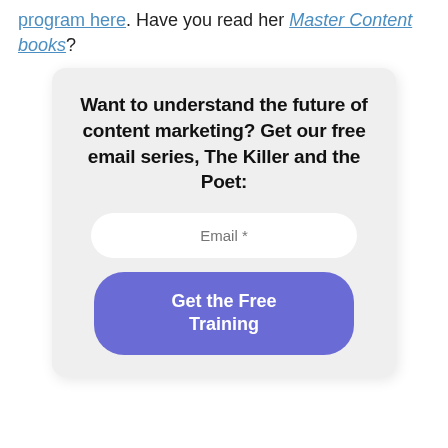program here. Have you read her Master Content books?
[Figure (screenshot): Email signup widget with heading 'Want to understand the future of content marketing? Get our free email series, The Killer and the Poet:', an email input field, and a 'Get the Free Training' button on a light grey card.]